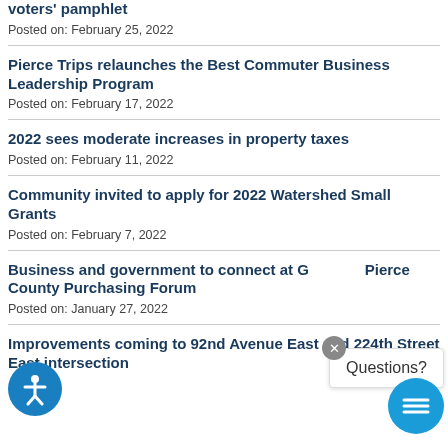voters' pamphlet
Posted on: February 25, 2022
Pierce Trips relaunches the Best Commuter Business Leadership Program
Posted on: February 17, 2022
2022 sees moderate increases in property taxes
Posted on: February 11, 2022
Community invited to apply for 2022 Watershed Small Grants
Posted on: February 7, 2022
Business and government to connect at G... Pierce County Purchasing Forum
Posted on: January 27, 2022
Improvements coming to 92nd Avenue East and 224th Street East intersection